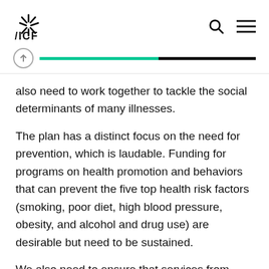ICF logo with search and menu icons
also need to work together to tackle the social determinants of many illnesses.
The plan has a distinct focus on the need for prevention, which is laudable. Funding for programs on health promotion and behaviors that can prevent the five top health risk factors (smoking, poor diet, high blood pressure, obesity, and alcohol and drug use) are desirable but need to be sustained.
We also need to ensure that services from multiple